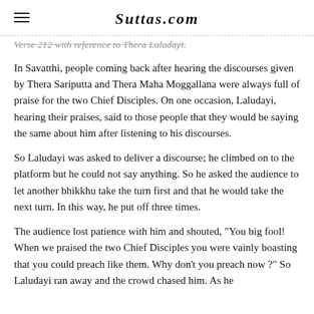Suttas.com
Verse 212 with reference to Thera Laludayi.
In Savatthi, people coming back after hearing the discourses given by Thera Sariputta and Thera Maha Moggallana were always full of praise for the two Chief Disciples. On one occasion, Laludayi, hearing their praises, said to those people that they would be saying the same about him after listening to his discourses.
So Laludayi was asked to deliver a discourse; he climbed on to the platform but he could not say anything. So he asked the audience to let another bhikkhu take the turn first and that he would take the next turn. In this way, he put off three times.
The audience lost patience with him and shouted, "You big fool! When we praised the two Chief Disciples you were vainly boasting that you could preach like them. Why don't you preach now ?" So Laludayi ran away and the crowd chased him. As he